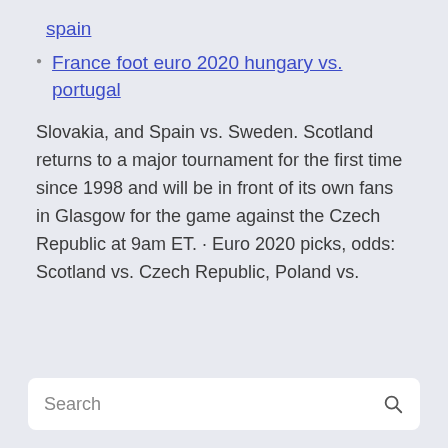spain
France foot euro 2020 hungary vs. portugal
Slovakia, and Spain vs. Sweden. Scotland returns to a major tournament for the first time since 1998 and will be in front of its own fans in Glasgow for the game against the Czech Republic at 9am ET. · Euro 2020 picks, odds: Scotland vs. Czech Republic, Poland vs.
Search